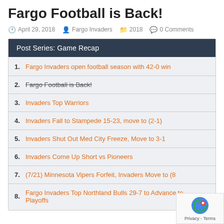Fargo Football is Back!
April 29, 2018   Fargo Invaders   2018   0 Comments
Post Series: Game Recap
1. Fargo Invaders open football season with 42-0 win
2. Fargo Football is Back!
3. Invaders Top Warriors
4. Invaders Fall to Stampede 15-23, move to (2-1)
5. Invaders Shut Out Med City Freeze, Move to 3-1
6. Invaders Come Up Short vs Pioneers
7. (7/21) Minnesota Vipers Forfeit, Invaders Move to (8…
8. Fargo Invaders Top Northland Bulls 29-7 to Advance to Playoffs